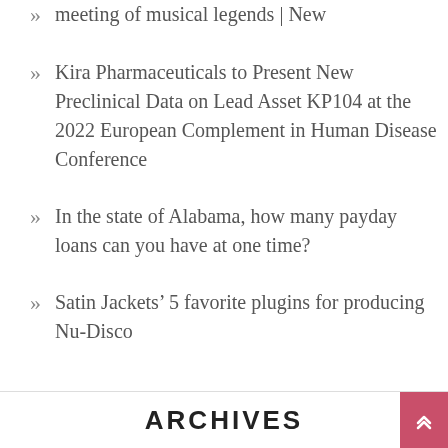meeting of musical legends | New
Kira Pharmaceuticals to Present New Preclinical Data on Lead Asset KP104 at the 2022 European Complement in Human Disease Conference
In the state of Alabama, how many payday loans can you have at one time?
Satin Jackets’ 5 favorite plugins for producing Nu-Disco
ARCHIVES